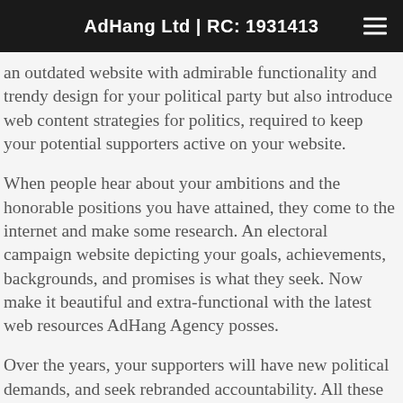AdHang Ltd | RC: 1931413
an outdated website with admirable functionality and trendy design for your political party but also introduce web content strategies for politics, required to keep your potential supporters active on your website.
When people hear about your ambitions and the honorable positions you have attained, they come to the internet and make some research. An electoral campaign website depicting your goals, achievements, backgrounds, and promises is what they seek. Now make it beautiful and extra-functional with the latest web resources AdHang Agency posses.
Over the years, your supporters will have new political demands, and seek rebranded accountability. All these requests should come with a professional website redesigned by AdHang Agency.